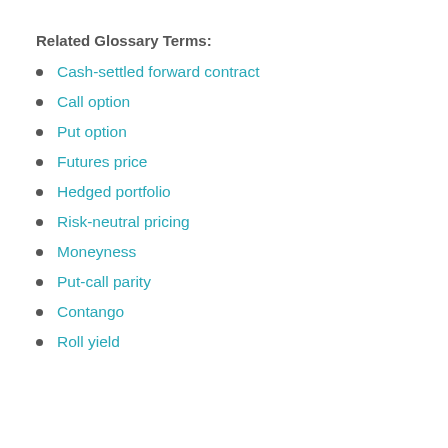Related Glossary Terms:
Cash-settled forward contract
Call option
Put option
Futures price
Hedged portfolio
Risk-neutral pricing
Moneyness
Put-call parity
Contango
Roll yield